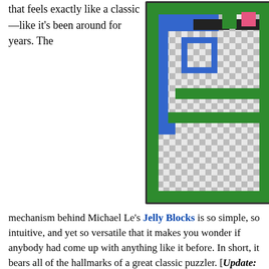that feels exactly like a classic—like it's been around for years. The mechanism behind Michael Le's Jelly Blocks is so simple, so intuitive, and yet so versatile that it makes you wonder if anybody had come up with anything like it before. In short, it bears all of the hallmarks of a great classic puzzler. [Update: Actually, this is a clone of the game, Denki Blocks, no wonder it had classic written all over it(!) Thanks, JIG community for setting the record straight.]
[Figure (screenshot): Screenshot of Jelly Blocks game showing a puzzle level with colored blocks on a checkerboard background, bordered by a green frame. Blocks include blue, green, black, and pink colored pieces.]
The goal of each level is to maneuver blocks of the same color so that they touch. Use the arrow keys to move the entire set of blocks around the screen.